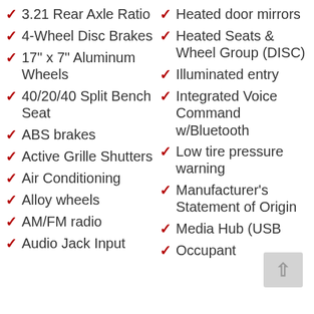3.21 Rear Axle Ratio
4-Wheel Disc Brakes
17" x 7" Aluminum Wheels
40/20/40 Split Bench Seat
ABS brakes
Active Grille Shutters
Air Conditioning
Alloy wheels
AM/FM radio
Audio Jack Input
Heated door mirrors
Heated Seats & Wheel Group (DISC)
Illuminated entry
Integrated Voice Command w/Bluetooth
Low tire pressure warning
Manufacturer's Statement of Origin
Media Hub (USB
Occupant